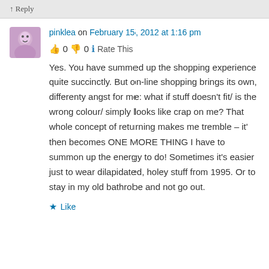↑ Reply
pinklea on February 15, 2012 at 1:16 pm
👍 0 👎 0 ℹ Rate This
Yes. You have summed up the shopping experience quite succinctly. But on-line shopping brings its own, differenty angst for me: what if stuff doesn't fit/ is the wrong colour/ simply looks like crap on me? That whole concept of returning makes me tremble – it' then becomes ONE MORE THING I have to summon up the energy to do! Sometimes it's easier just to wear dilapidated, holey stuff from 1995. Or to stay in my old bathrobe and not go out.
★ Like